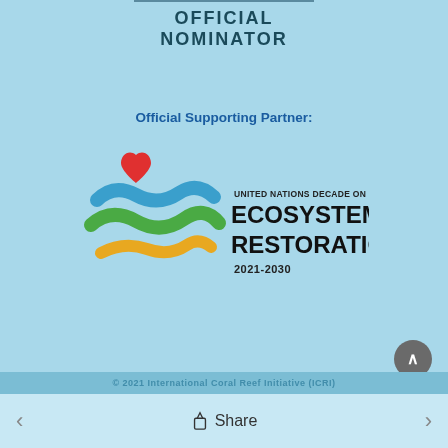OFFICIAL NOMINATOR
Official Supporting Partner:
[Figure (logo): United Nations Decade on Ecosystem Restoration 2021-2030 logo with colorful wave motif and heart]
© 2021 International... [Share navigation bar]